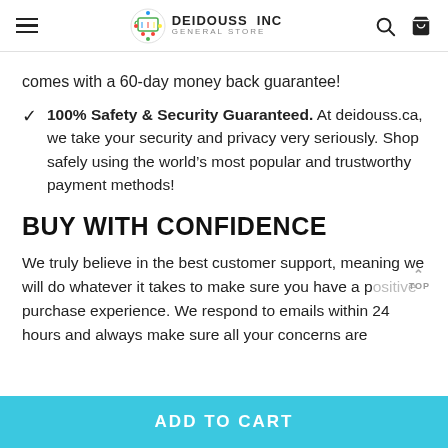DEIDOUSS INC GENERAL STORE
comes with a 60-day money back guarantee!
100% Safety & Security Guaranteed. At deidouss.ca, we take your security and privacy very seriously. Shop safely using the world's most popular and trustworthy payment methods!
BUY WITH CONFIDENCE
We truly believe in the best customer support, meaning we will do whatever it takes to make sure you have a positive purchase experience. We respond to emails within 24 hours and always make sure all your concerns are
ADD TO CART